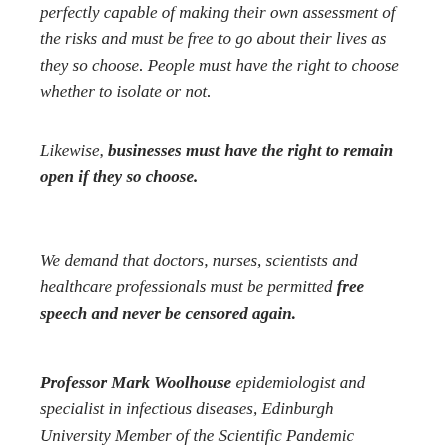perfectly capable of making their own assessment of the risks and must be free to go about their lives as they so choose. People must have the right to choose whether to isolate or not.
Likewise, businesses must have the right to remain open if they so choose.
We demand that doctors, nurses, scientists and healthcare professionals must be permitted free speech and never be censored again.
Professor Mark Woolhouse epidemiologist and specialist in infectious diseases, Edinburgh University Member of the Scientific Pandemic Influenza Group on Behaviours, that advises the